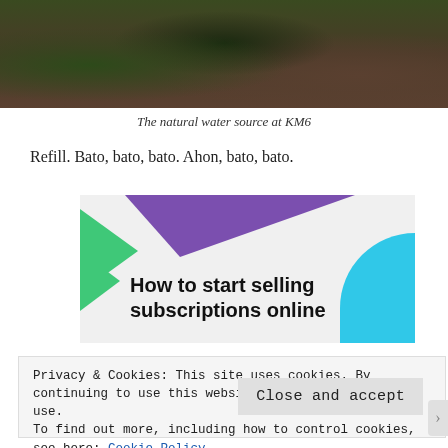[Figure (photo): Photograph of a natural water source at KM6, showing rocks, moss, vegetation, and water flowing between large stones in a forested setting.]
The natural water source at KM6
Refill. Bato, bato, bato. Ahon, bato, bato.
[Figure (illustration): Advertisement banner with purple and green geometric triangle shapes on the left, a cyan curved shape on the bottom right, and bold text reading 'How to start selling subscriptions online' on a light gray background.]
Privacy & Cookies: This site uses cookies. By continuing to use this website, you agree to their use.
To find out more, including how to control cookies, see here: Cookie Policy
Close and accept